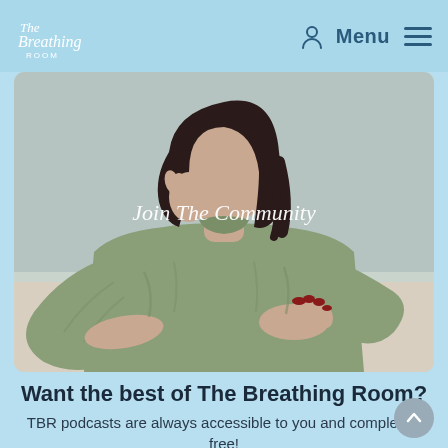The Breathing Room — Menu
[Figure (photo): A woman in a sage green oversized sweatshirt sitting at a table, leaning over an open book or journal, with dark hair and red nail polish. Text overlay reads 'Join The Community'.]
Want the best of The Breathing Room?
TBR podcasts are always accessible to you and completely free!